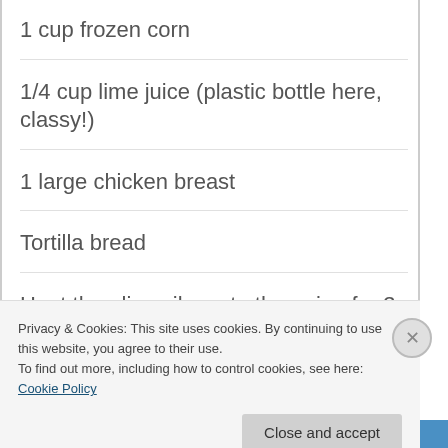1 cup frozen corn
1/4 cup lime juice (plastic bottle here, classy!)
1 large chicken breast
Tortilla bread
Heat the olive oil, saute the onion for 3-4 minutes, add garlic and chili
Privacy & Cookies: This site uses cookies. By continuing to use this website, you agree to their use.
To find out more, including how to control cookies, see here: Cookie Policy
BROWSING